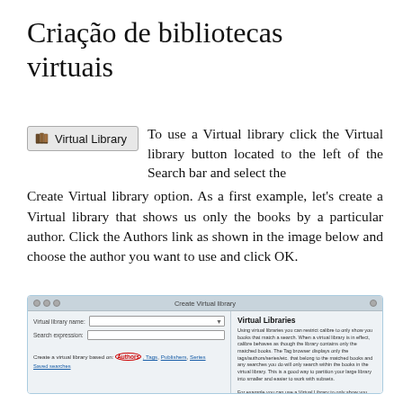Criação de bibliotecas virtuais
[Figure (screenshot): Screenshot of a 'Virtual Library' button (UI element with book icon and label 'Virtual Library')]
To use a Virtual library click the Virtual library button located to the left of the Search bar and select the Create Virtual library option. As a first example, let's create a Virtual library that shows us only the books by a particular author. Click the Authors link as shown in the image below and choose the author you want to use and click OK.
[Figure (screenshot): Screenshot of the 'Create Virtual library' dialog in calibre, showing fields for Virtual library name and Search expression, a link row with Authors (circled in red), Tags, Publishers, Series, Saved searches, and a right-side panel with title 'Virtual Libraries' explaining the feature.]